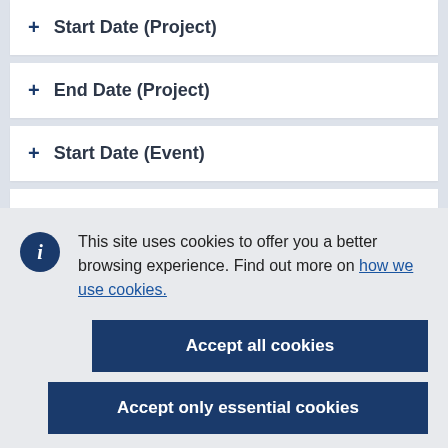+ Start Date (Project)
+ End Date (Project)
+ Start Date (Event)
+ End Date (Event)
+ Country
This site uses cookies to offer you a better browsing experience. Find out more on how we use cookies.
Accept all cookies
Accept only essential cookies